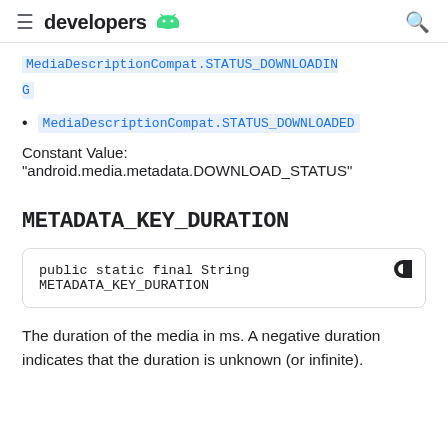developers [android logo]
MediaDescriptionCompat.STATUS_DOWNLOADING
MediaDescriptionCompat.STATUS_DOWNLOADED
Constant Value:
"android.media.metadata.DOWNLOAD_STATUS"
METADATA_KEY_DURATION
public static final String METADATA_KEY_DURATION
The duration of the media in ms. A negative duration indicates that the duration is unknown (or infinite).